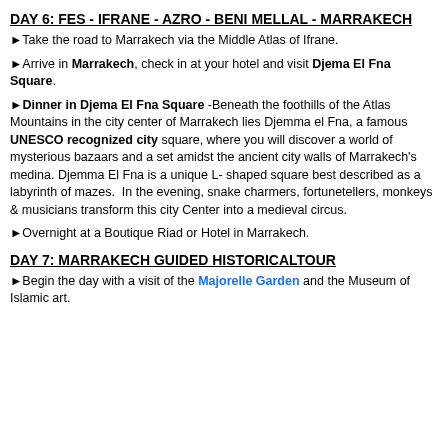DAY 6: FES - IFRANE - AZRO - BENI MELLAL - MARRAKECH
►Take the road to Marrakech via the Middle Atlas of Ifrane.
►Arrive in Marrakech, check in at your hotel and visit Djema El Fna Square.
►Dinner in Djema El Fna Square -Beneath the foothills of the Atlas Mountains in the city center of Marrakech lies Djemma el Fna, a famous UNESCO recognized city square, where you will discover a world of mysterious bazaars and a set amidst the ancient city walls of Marrakech's medina. Djemma El Fna is a unique L- shaped square best described as a labyrinth of mazes.  In the evening, snake charmers, fortunetellers, monkeys & musicians transform this city Center into a medieval circus.
►Overnight at a Boutique Riad or Hotel in Marrakech.
DAY 7: MARRAKECH GUIDED HISTORICALTOUR
►Begin the day with a visit of the Majorelle Garden and the Museum of Islamic art.